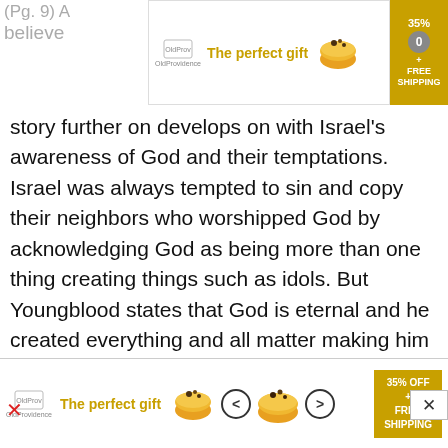[Figure (screenshot): Top advertisement banner: 'The perfect gift' with bowl image, arrows, 35% OFF FREE SHIPPING badge]
(Pg. 9) A still believe d's story further on develops on with Israel's awareness of God and their temptations. Israel was always tempted to sin and copy their neighbors who worshipped God by acknowledging God as being more than one thing creating things such as idols. But Youngblood states that God is eternal and he created everything and all matter making him above everything. Nothing can be compared to what God is. No theories such as materialism, pantheism or polytheism. Youngblood explains clearly that the Old Testament places God as the supreme and sole power above everything. Sovereignty is the next theme Youngblood talks about. God is the highest authority over every dimension of life. “Our God is in heaven; he does whatever pleases him” (Psalm
[Figure (screenshot): Bottom advertisement banner: 'The perfect gift' with bowl image, arrows, 35% OFF FREE SHIPPING]